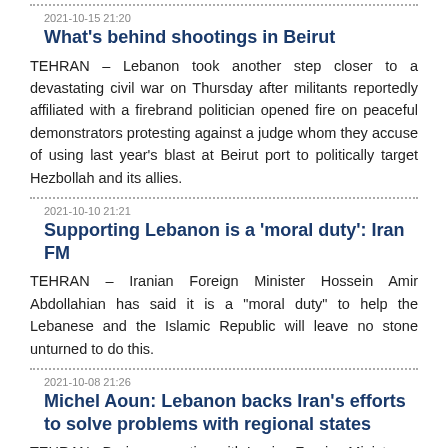2021-10-15 21:20
What's behind shootings in Beirut
TEHRAN – Lebanon took another step closer to a devastating civil war on Thursday after militants reportedly affiliated with a firebrand politician opened fire on peaceful demonstrators protesting against a judge whom they accuse of using last year's blast at Beirut port to politically target Hezbollah and its allies.
2021-10-10 21:21
Supporting Lebanon is a 'moral duty': Iran FM
TEHRAN – Iranian Foreign Minister Hossein Amir Abdollahian has said it is a "moral duty" to help the Lebanese and the Islamic Republic will leave no stone unturned to do this.
2021-10-08 21:26
Michel Aoun: Lebanon backs Iran's efforts to solve problems with regional states
TEHRAN - During a meeting with Iranian Foreign Minister